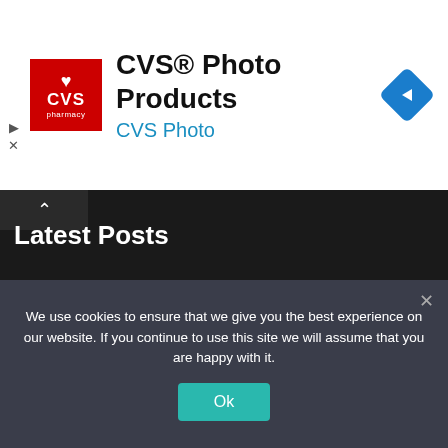[Figure (screenshot): CVS Pharmacy logo: red square with white heart and CVS text]
CVS® Photo Products
CVS Photo
[Figure (logo): Blue diamond navigation arrow icon]
Latest Posts
VII Presents Sunlounger ‘After The Afters’
2 days ago
Le’Mona – Don’t You
3 days ago
We use cookies to ensure that we give you the best experience on our website. If you continue to use this site we will assume that you are happy with it.